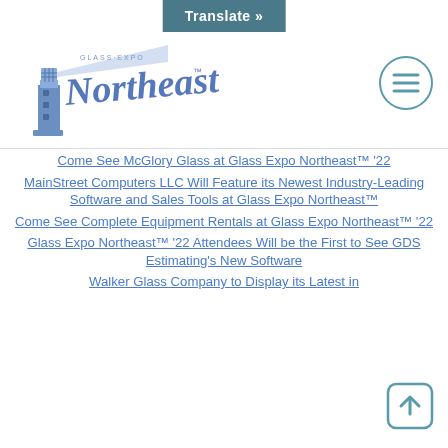Translate »
[Figure (logo): Glass Expo Northeast logo with lighthouse and script text]
[Figure (other): Hamburger menu icon in a circle]
Come See McGlory Glass at Glass Expo Northeast™ '22
MainStreet Computers LLC Will Feature its Newest Industry-Leading Software and Sales Tools at Glass Expo Northeast™
Come See Complete Equipment Rentals at Glass Expo Northeast™ '22
Glass Expo Northeast™ '22 Attendees Will be the First to See GDS Estimating's New Software
Walker Glass Company to Display its Latest in
[Figure (other): Scroll to top arrow button]